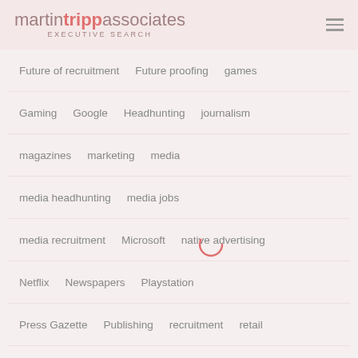martin tripp associates EXECUTIVE SEARCH
Future of recruitment
Future proofing
games
Gaming
Google
Headhunting
journalism
magazines
marketing
media
media headhunting
media jobs
media recruitment
Microsoft
native advertising
Netflix
Newspapers
Playstation
Press Gazette
Publishing
recruitment
retail
social media
Sony
technology
Twitter
video games
YouTube